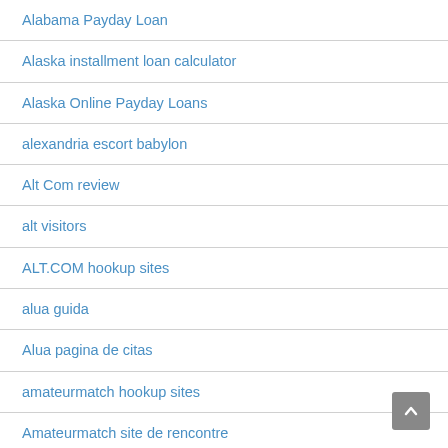Alabama Payday Loan
Alaska installment loan calculator
Alaska Online Payday Loans
alexandria escort babylon
Alt Com review
alt visitors
ALT.COM hookup sites
alua guida
Alua pagina de citas
amateurmatch hookup sites
Amateurmatch site de rencontre
amateurmatch username
Amazon Reviews